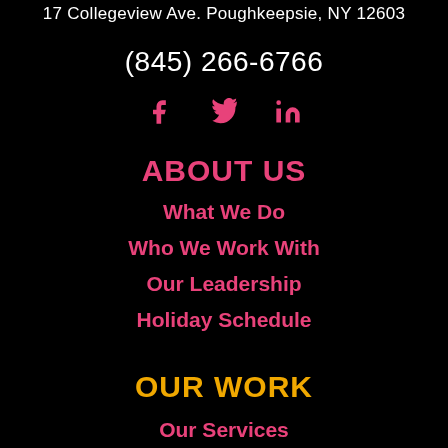17 Collegeview Ave. Poughkeepsie, NY 12603
(845) 266-6766
[Figure (infographic): Three social media icons: Facebook (f), Twitter (bird), LinkedIn (in), displayed in pink/magenta color]
ABOUT US
What We Do
Who We Work With
Our Leadership
Holiday Schedule
OUR WORK
Our Services